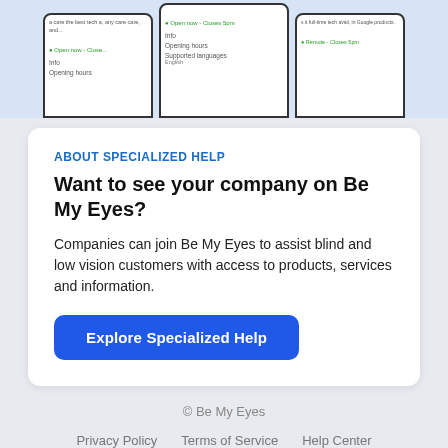[Figure (screenshot): Three smartphone mockups showing Be My Eyes app interface with 'Open now - Closes 5pm' status, Info, Opening hours, and Supported languages fields]
ABOUT SPECIALIZED HELP
Want to see your company on Be My Eyes?
Companies can join Be My Eyes to assist blind and low vision customers with access to products, services and information.
Explore Specialized Help
© Be My Eyes
Privacy Policy   Terms of Service   Help Center
Contact Us